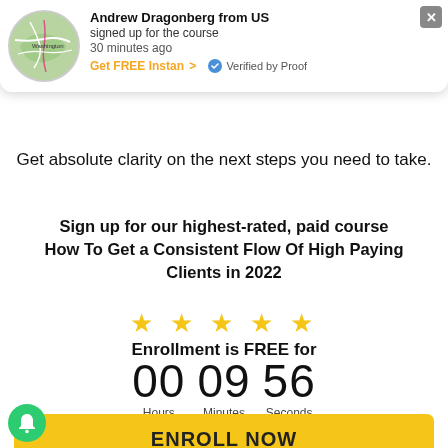[Figure (screenshot): Notification popup showing Andrew Dragonberg from US signed up for the course 30 minutes ago, with a map thumbnail, Get FREE Instan link, and Verified by Proof badge. Background partially visible heading: Over 70% of coaches feel lost and overwhelmed...ings and]
Get absolute clarity on the next steps you need to take.
Sign up for our highest-rated, paid course How To Get a Consistent Flow Of High Paying Clients in 2022
★ ★ ★ ★ ★
Enrollment is FREE for
00 Hours  09 Minutes  56 Seconds
ENROLL NOW